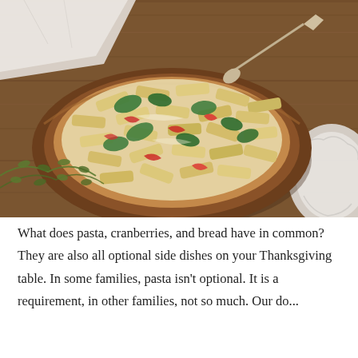[Figure (photo): Top-down view of a wooden bowl filled with penne pasta mixed with spinach, red peppers, and a creamy sauce, with a serving spoon, fresh herbs, and a decorative white plate on a wooden surface.]
What does pasta, cranberries, and bread have in common? They are also all optional side dishes on your Thanksgiving table. In some families, pasta isn't optional. It is a requirement, in other families, not so much. Our do...